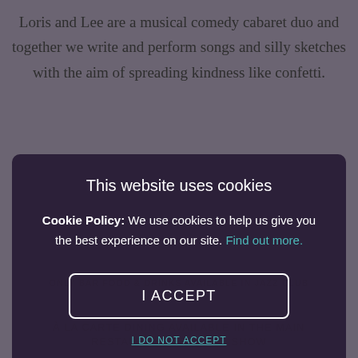Loris and Lee are a musical comedy cabaret duo and together we write and perform songs and silly sketches with the aim of spreading kindness like confetti.
[Figure (screenshot): Cookie consent modal overlay with dark purple background, containing the title 'This website uses cookies', cookie policy text with a 'Find out more.' teal link, an 'I ACCEPT' button with white border, and an 'I DO NOT ACCEPT' teal link below.]
ONLY BAR FOOD & DRINKS AVAILABLE IN JAZZ CLUB
À LA CARTE DINING AVAILABLE IN THE MAIN RESTAURANT PRIOR TO SHOW